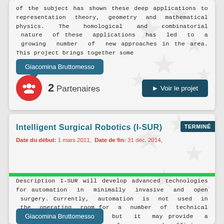of the subject has shown these deep applications to representation theory, geometry and mathematical physics. The homological and combinatorial nature of these applications has led to a growing number of new approaches in the area. This project brings together some
Giacomina Bruttomesso
2 Partenaires
▸ Voir le projet
Intelligent Surgical Robotics (I-SUR)
Date du début: 1 mars 2011, Date de fin: 31 déc. 2014,
Description I-SUR will develop advanced technologies for automation in minimally invasive and open surgery. Currently, automation is not used in the operating room for a number of technical and legal reasons, but it may provide a solution to improve performance and efficiency without increasing operating costs. I-SUR aims at breaking
Giacomina Bruttomesso